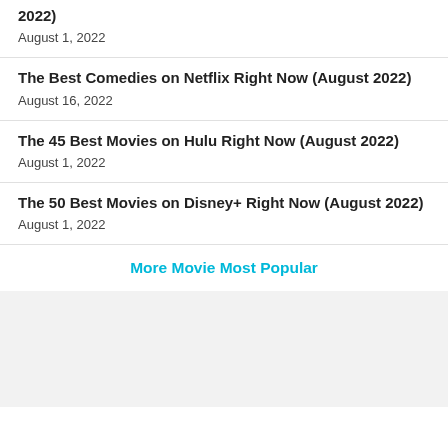2022)
August 1, 2022
The Best Comedies on Netflix Right Now (August 2022)
August 16, 2022
The 45 Best Movies on Hulu Right Now (August 2022)
August 1, 2022
The 50 Best Movies on Disney+ Right Now (August 2022)
August 1, 2022
More Movie Most Popular